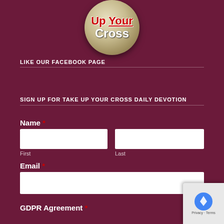[Figure (logo): Take Up Your Cross logo — billiard ball with text 'Up Your Cross']
LIKE OUR FACEBOOK PAGE
SIGN UP FOR TAKE UP YOUR CROSS DAILY DEVOTION
Name *
First
Last
Email *
GDPR Agreement *